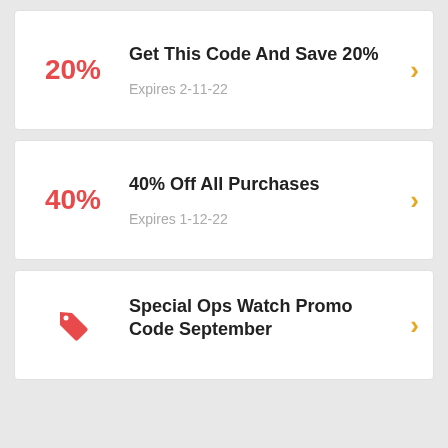20% — Get This Code And Save 20% — Expires 2-11-22
40% — 40% Off All Purchases — Expires 1-12-22
Special Ops Watch Promo Code September